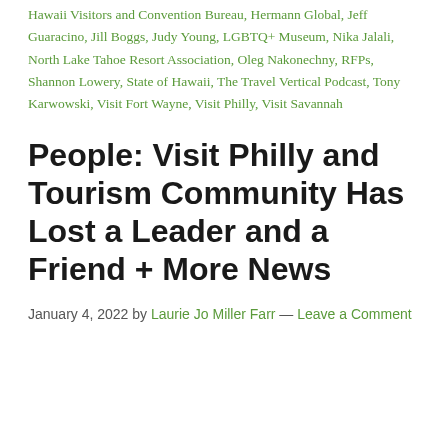Hawaii Visitors and Convention Bureau, Hermann Global, Jeff Guaracino, Jill Boggs, Judy Young, LGBTQ+ Museum, Nika Jalali, North Lake Tahoe Resort Association, Oleg Nakonechny, RFPs, Shannon Lowery, State of Hawaii, The Travel Vertical Podcast, Tony Karwowski, Visit Fort Wayne, Visit Philly, Visit Savannah
People: Visit Philly and Tourism Community Has Lost a Leader and a Friend + More News
January 4, 2022 by Laurie Jo Miller Farr — Leave a Comment